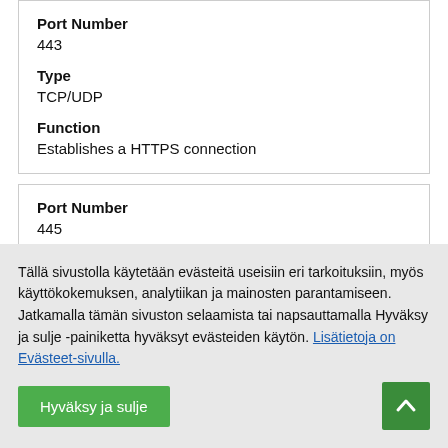Port Number
443
Type
TCP/UDP
Function
Establishes a HTTPS connection
Port Number
445
Tällä sivustolla käytetään evästeitä useisiin eri tarkoituksiin, myös käyttökokemuksen, analytiikan ja mainosten parantamiseen. Jatkamalla tämän sivuston selaamista tai napsauttamalla Hyväksy ja sulje -painiketta hyväksyt evästeiden käytön. Lisätietoja on Evästeet-sivulla.